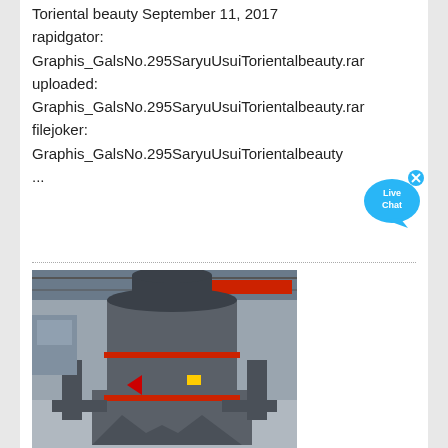Toriental beauty September 11, 2017
rapidgator:
Graphis_GalsNo.295SaryuUsuiTorientalbeauty.rar
uploaded:
Graphis_GalsNo.295SaryuUsuiTorientalbeauty.rar
filejoker:
Graphis_GalsNo.295SaryuUsuiTorientalbeauty
...
[Figure (other): Live Chat button widget - blue speech bubble with 'Live Chat' text and a close X button]
[Figure (photo): Industrial machine (vertical shaft impact crusher or similar heavy machinery) in a factory/warehouse setting with red overhead crane visible in background]